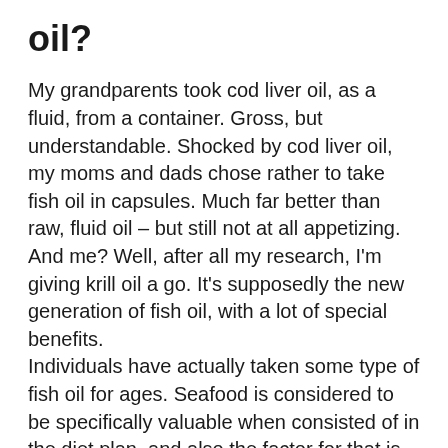oil?
My grandparents took cod liver oil, as a fluid, from a container. Gross, but understandable. Shocked by cod liver oil, my moms and dads chose rather to take fish oil in capsules. Much far better than raw, fluid oil – but still not at all appetizing.
And me? Well, after all my research, I'm giving krill oil a go. It's supposedly the new generation of fish oil, with a lot of special benefits.
Individuals have actually taken some type of fish oil for ages. Seafood is considered to be specifically valuable when consisted of in the diet plan, and also the factor for that is the visibility of 2 unique omega-3 fatty oils: EPA as well as DHA. While some other non-